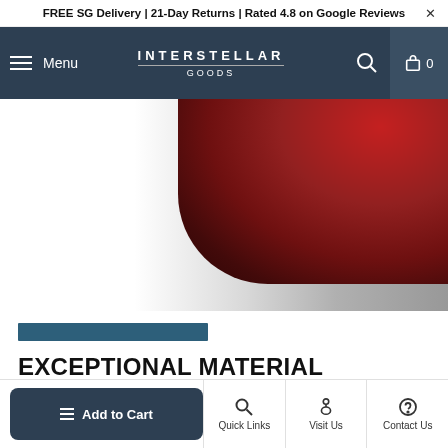FREE SG Delivery | 21-Day Returns | Rated 4.8 on Google Reviews ×
Menu — INTERSTELLAR GOODS — 🔍 🛒 0
[Figure (photo): Close-up photo of a dark red/crimson product (appears to be a fabric or textile item) against a white and grey gradient background]
EXCEPTIONAL MATERIAL QUALITY
100% Extra-Long Staple cotton knit into a lightweight